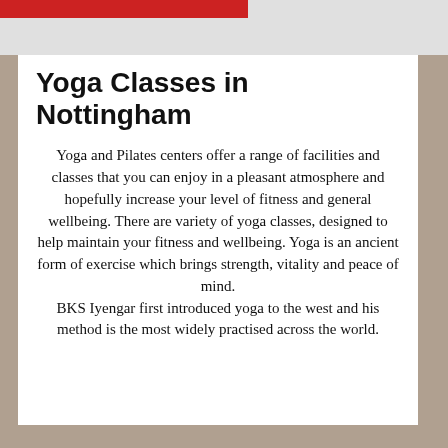Yoga Classes in Nottingham
Yoga and Pilates centers offer a range of facilities and classes that you can enjoy in a pleasant atmosphere and hopefully increase your level of fitness and general wellbeing. There are variety of yoga classes, designed to help maintain your fitness and wellbeing. Yoga is an ancient form of exercise which brings strength, vitality and peace of mind. BKS Iyengar first introduced yoga to the west and his method is the most widely practised across the world.